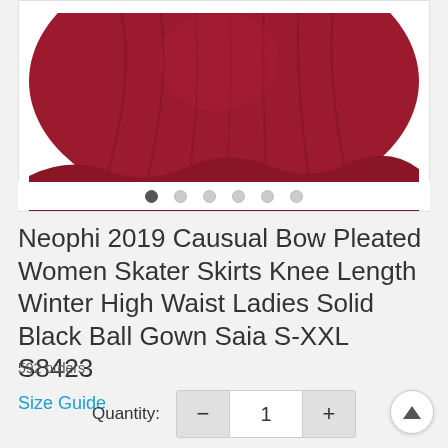[Figure (photo): Product photo showing a dark red/crimson pleated skater skirt, bottom portion visible against white background, with image carousel dots below]
Neophi 2019 Causual Bow Pleated Women Skater Skirts Knee Length Winter High Waist Ladies Solid Black Ball Gown Saia S-XXL S8423
592 orders
Size Guide
Quantity:  −  1  +